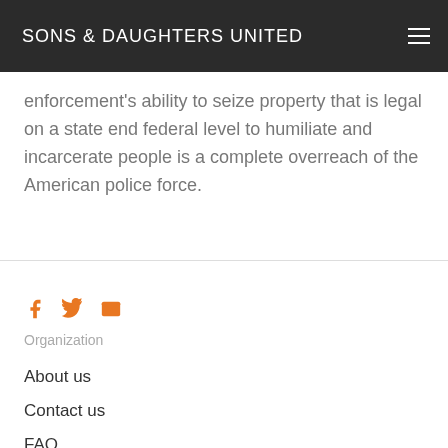SONS & DAUGHTERS UNITED
enforcement's ability to seize property that is legal on a state end federal level to humiliate and incarcerate people is a complete overreach of the American police force.
About us
Contact us
FAQ
Blog
Non-Profit Status
Bylaws